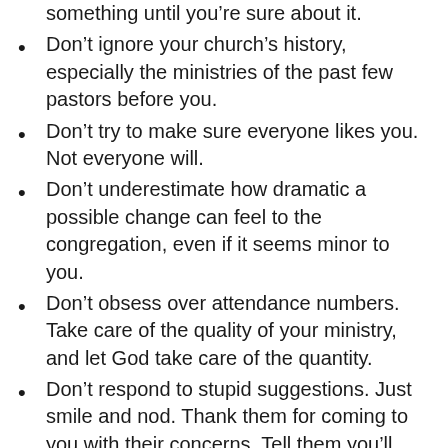something until you’re sure about it.
Don’t ignore your church’s history, especially the ministries of the past few pastors before you.
Don’t try to make sure everyone likes you. Not everyone will.
Don’t underestimate how dramatic a possible change can feel to the congregation, even if it seems minor to you.
Don’t obsess over attendance numbers. Take care of the quality of your ministry, and let God take care of the quantity.
Don’t respond to stupid suggestions. Just smile and nod. Thank them for coming to you with their concerns. Tell them you’ll pray about it.
Don’t assume your enemies are really your enemies. If you serve your opponents in